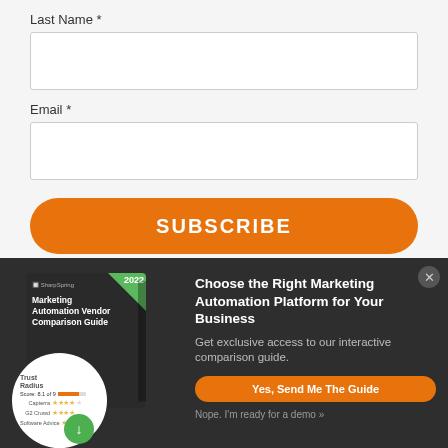Last Name *
Email *
SUBSCRIBE
[Figure (screenshot): Marketing Automation Vendor Comparison Guide book cover with 2022 badge and TrustRadius ratings circle]
Choose the Right Marketing Automation Platform for Your Business
Get exclusive access to our interactive comparison guide.
Yes, Send Me The Guide
Nope. I'm ready for a demo »